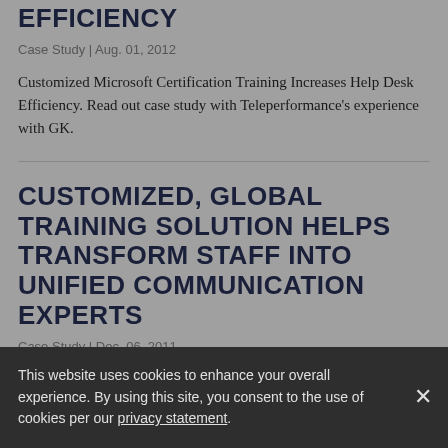EFFICIENCY
Case Study | Aug. 01, 2012
Customized Microsoft Certification Training Increases Help Desk Efficiency. Read out case study with Teleperformance's experience with GK.
CUSTOMIZED, GLOBAL TRAINING SOLUTION HELPS TRANSFORM STAFF INTO UNIFIED COMMUNICATION EXPERTS
Case Study | Dec. 06, 2011
This website uses cookies to enhance your overall experience. By using this site, you consent to the use of cookies per our privacy statement.